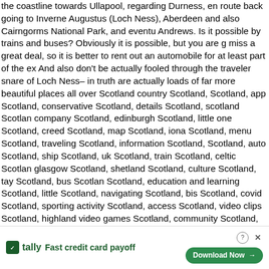the coastline towards Ullapool, regarding Durness, en route back going to Inverness Augustus (Loch Ness), Aberdeen and also Cairngorms National Park, and eventually St Andrews. Is it possible by trains and buses? Obviously it is possible, but you are going to miss a great deal, so it is better to rent out an automobile for at least part of the experience. And also don't be actually fooled through the traveler snare of Loch Ness– in truth there are actually loads of far more beautiful places all over Scotland country Scotland, app Scotland, conservative Scotland, details Scotland, scotland Scotland, company Scotland, edinburgh Scotland, little one Scotland, creed Scotland, map Scotland, iona Scotland, menu Scotland, traveling Scotland, information Scotland, Scotland, auto Scotland, ship Scotland, uk Scotland, train Scotland, celtic Scotland, glasgow Scotland, shetland Scotland, culture Scotland, tay Scotland, bus Scotland, Scotland, education and learning Scotland, little Scotland, navigating Scotland, bis Scotland, covid Scotland, sporting activity Scotland, access Scotland, video clips Scotland, highland video games Scotland, community Scotland, golf Scotland, sc Scotland, meals Scotland, whisky Scotland, budget plan Scotland, visitscotland S gallery Scotland, newsletter Scotland, arbroath Scotland, heli Scotland, roadway S distilleries Scotland, st andrews Scotland, cocktail Scotland, check out scotland S europe Scotland, castles Scotland, future Scotland, experience Scotland, blog site Scotland, dundee Scotland, driving Scotland, sporting activities Scotland, transport Scotland Glenelg I don't forget checking out Scotland for the very first opportunity end of April. It was actually already spring season in Scotland, the sunlight was w up, while in Scotland it was actually still winter all over. The Highlands were still de in snow in many spots, and in Edinburgh it was actually piercingly rain. When jour in Scotland, initially of all really good, water-proof, sports shoes. Will additionally h in useful, at times it is additionally worth incorporating a slim sports hat as sports gloves to the bag (springtime as well as fall). In winter months, I propose st clear of S absolutely d operate (M ent must (Mu possess a ottle along w
[Figure (other): Advertisement banner for Tally app - Fast credit card payoff with Download Now button and Close X button]